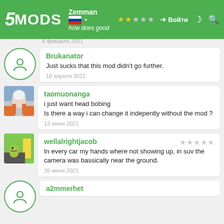5MODS | Войти
6 февраля 2021
Brukanator
Just sucks that this mod didn't go further.
10 апреля 2021
taomuonanga
i just want head bobing
Is there a way i can change it indepently without the mod ?
13 июня 2021
wellalrightjacob
In every car my hands where not showing up, in suv the camera was bassically near the ground.
28 июня 2021